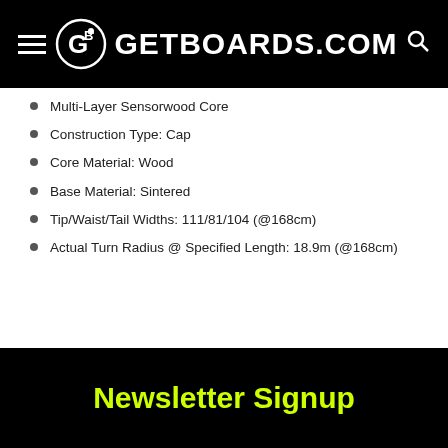GETBOARDS.COM
Multi-Layer Sensorwood Core
Construction Type: Cap
Core Material: Wood
Base Material: Sintered
Tip/Waist/Tail Widths: 111/81/104 (@168cm)
Actual Turn Radius @ Specified Length: 18.9m (@168cm)
Newsletter Signup